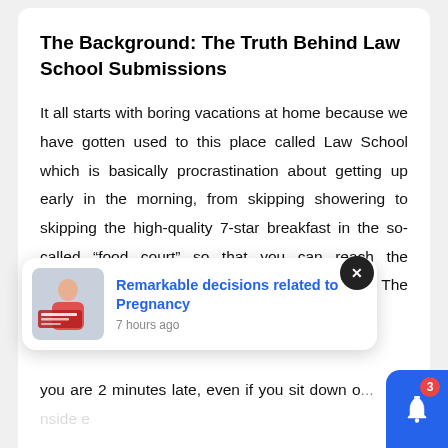The Background: The Truth Behind Law School Submissions
It all starts with boring vacations at home because we have gotten used to this place called Law School which is basically procrastination about getting up early in the morning, from skipping showering to skipping the high-quality 7-star breakfast in the so-called “food court” so that you can reach the classroom where the devilish creature resides – The Professor.
[Figure (screenshot): Web notification popup showing a pregnancy-related article titled 'Remarkable decisions related to Pregnancy' with a thumbnail image of a woman, posted 7 hours ago, with a close (X) button and a blue bell notification button with badge '3' in the bottom right.]
you are 2 minutes late, even if you sit down o... fl... t id th cl b ld b k hid i